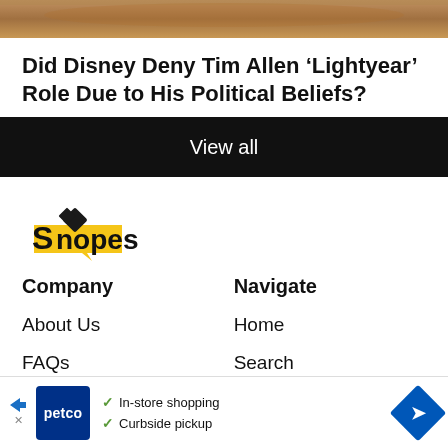[Figure (photo): Partial image banner at top of page showing a scene with warm tones]
Did Disney Deny Tim Allen ‘Lightyear’ Role Due to His Political Beliefs?
View all
[Figure (logo): Snopes logo with magnifying glass and yellow speech bubble shapes]
Company
About Us
FAQs
Navigate
Home
Search
[Figure (other): Petco advertisement banner with In-store shopping and Curbside pickup checkmarks]